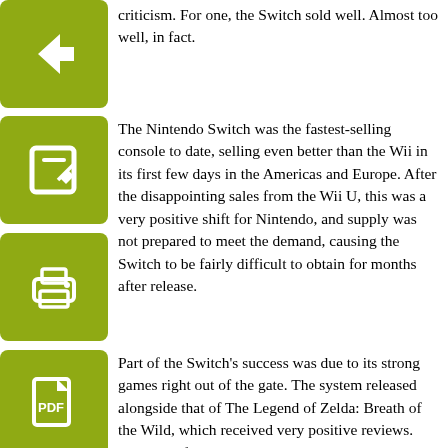criticism. For one, the Switch sold well. Almost too well, in fact.
The Nintendo Switch was the fastest-selling console to date, selling even better than the Wii in its first few days in the Americas and Europe. After the disappointing sales from the Wii U, this was a very positive shift for Nintendo, and supply was not prepared to meet the demand, causing the Switch to be fairly difficult to obtain for months after release.
Part of the Switch's success was due to its strong games right out of the gate. The system released alongside that of The Legend of Zelda: Breath of the Wild, which received very positive reviews. Within its first year, Nintendo released many mostly well-received games such as Splatoon 2, Super Mario Odyssey and Arms.
The company has also shown an interesting shift towards including more third-party content on the console with examples such as the Bethesda ports and an embrace of independent developer content being released and actively promoted on the Nintendo Switch.
Nintendo has also shown their continuous commitment to developing ambitious and unique projects, which they have been known for. This is a key point in the outcome of the